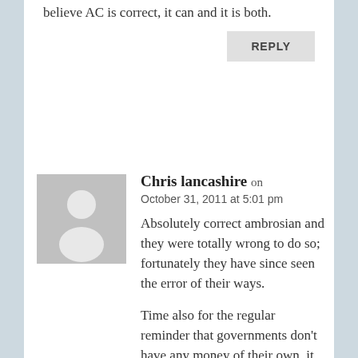believe AC is correct, it can and it is both.
REPLY
Chris lancashire on October 31, 2011 at 5:01 pm
Absolutely correct ambrosian and they were totally wrong to do so; fortunately they have since seen the error of their ways.
Time also for the regular reminder that governments don't have any money of their own, it is taken